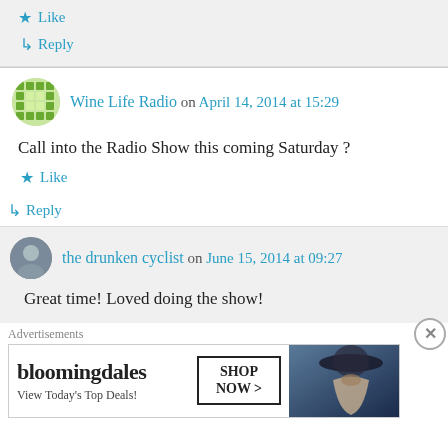Like
Reply
Wine Life Radio on April 14, 2014 at 15:29
Call into the Radio Show this coming Saturday ?
Like
Reply
the drunken cyclist on June 15, 2014 at 09:27
Great time! Loved doing the show!
Advertisements
[Figure (other): Bloomingdale's advertisement banner with text 'View Today’s Top Deals!' and 'SHOP NOW >' button and woman with hat image]